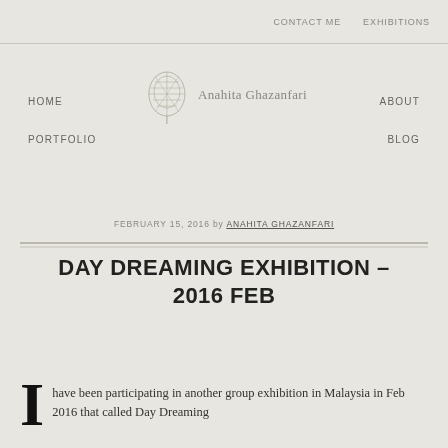CONTACT ME   EXHIBITIONS
[Figure (logo): Anahita Ghazanfari logo with stylized head illustration and text]
HOME
ABOUT
PORTFOLIO
BLOG
FEBRUARY 15, 2016 by ANAHITA GHAZANFARI
DAY DREAMING EXHIBITION – 2016 FEB
I have been participating in another group exhibition in Malaysia in Feb 2016 that called Day Dreaming